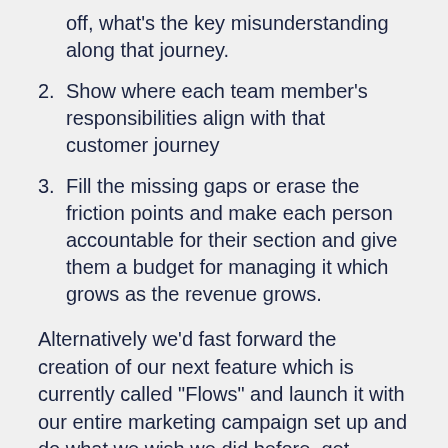off, what’s the key misunderstanding along that journey.
Show where each team member’s responsibilities align with that customer journey
Fill the missing gaps or erase the friction points and make each person accountable for their section and give them a budget for managing it which grows as the revenue grows.
Alternatively we’d fast forward the creation of our next feature which is currently called “Flows” and launch it with our entire marketing campaign set up and do what we wish we did before, get ground up adoption in companies.
Resources